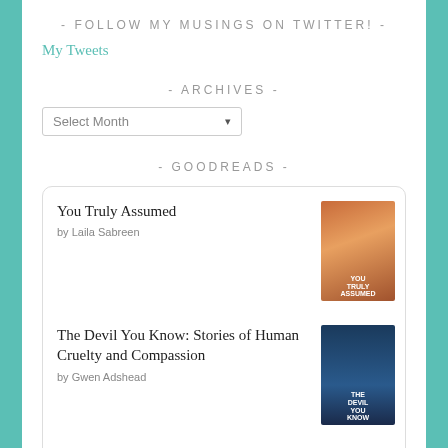- FOLLOW MY MUSINGS ON TWITTER! -
My Tweets
- ARCHIVES -
Select Month
- GOODREADS -
You Truly Assumed by Laila Sabreen
The Devil You Know: Stories of Human Cruelty and Compassion by Gwen Adshead
Love and Other Words